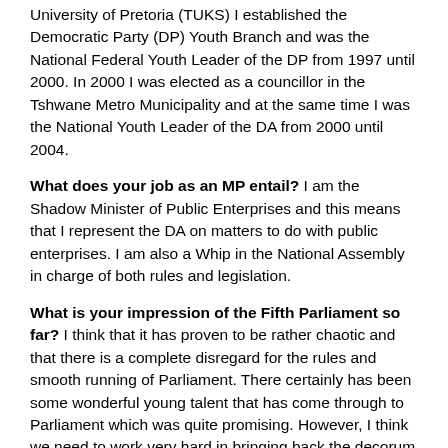University of Pretoria (TUKS) I established the Democratic Party (DP) Youth Branch and was the National Federal Youth Leader of the DP from 1997 until 2000. In 2000 I was elected as a councillor in the Tshwane Metro Municipality and at the same time I was the National Youth Leader of the DA from 2000 until 2004.
What does your job as an MP entail? I am the Shadow Minister of Public Enterprises and this means that I represent the DA on matters to do with public enterprises. I am also a Whip in the National Assembly in charge of both rules and legislation.
What is your impression of the Fifth Parliament so far? I think that it has proven to be rather chaotic and that there is a complete disregard for the rules and smooth running of Parliament. There certainly has been some wonderful young talent that has come through to Parliament which was quite promising. However, I think we need to work very hard in bringing back the decorum of the Chamber and to make Parliament an honourable space again.
What constituency area have you been assigned to you by your party? What is most interesting about your...